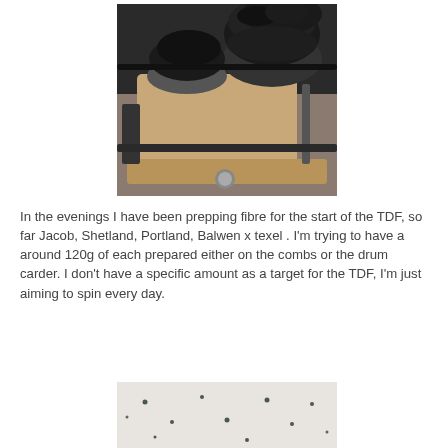[Figure (photo): Close-up photograph of a drum carder with dark grey/black wool fibre wrapped around the main drum. Wooden and metal parts of the carder are visible.]
In the evenings I have been prepping fibre for the start of the TDF, so far Jacob, Shetland, Portland, Balwen x texel . I'm trying to have a around 120g of each prepared either on the combs or the drum carder. I don't have a specific amount as a target for the TDF, I'm just aiming to spin every day.
[Figure (photo): Partial photograph at bottom of page showing what appears to be a light-coloured surface with small dark spots or marks, possibly prepared fibre or a fleece.]